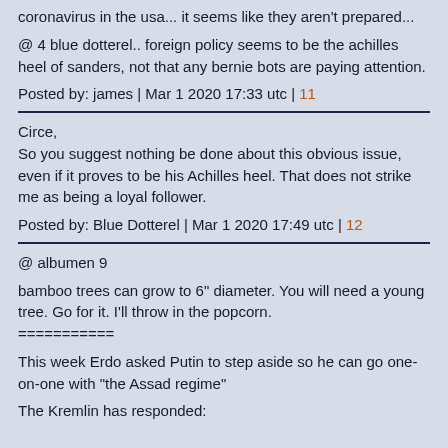coronavirus in the usa... it seems like they aren't prepared...
@ 4 blue dotterel.. foreign policy seems to be the achilles heel of sanders, not that any bernie bots are paying attention.
Posted by: james | Mar 1 2020 17:33 utc | 11
Circe,
So you suggest nothing be done about this obvious issue, even if it proves to be his Achilles heel. That does not strike me as being a loyal follower.
Posted by: Blue Dotterel | Mar 1 2020 17:49 utc | 12
@ albumen 9

bamboo trees can grow to 6" diameter. You will need a young tree. Go for it. I'll throw in the popcorn.
===========

This week Erdo asked Putin to step aside so he can go one-on-one with "the Assad regime"

The Kremlin has responded: